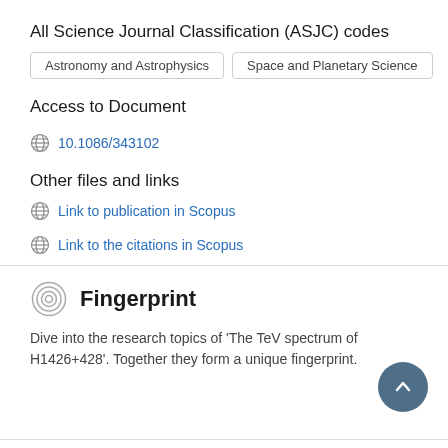All Science Journal Classification (ASJC) codes
Astronomy and Astrophysics | Space and Planetary Science
Access to Document
10.1086/343102
Other files and links
Link to publication in Scopus
Link to the citations in Scopus
Fingerprint
Dive into the research topics of 'The TeV spectrum of H1426+428'. Together they form a unique fingerprint.